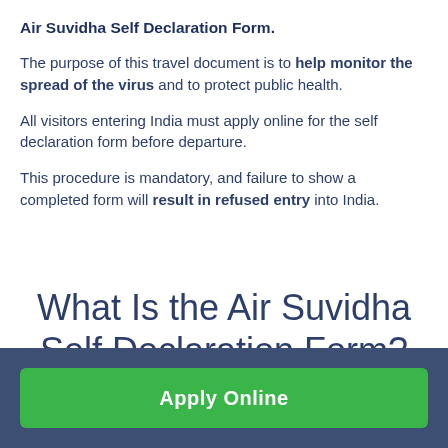Air Suvidha Self Declaration Form.
The purpose of this travel document is to help monitor the spread of the virus and to protect public health.
All visitors entering India must apply online for the self declaration form before departure.
This procedure is mandatory, and failure to show a completed form will result in refused entry into India.
What Is the Air Suvidha Self Declaration Form?
Apply Online